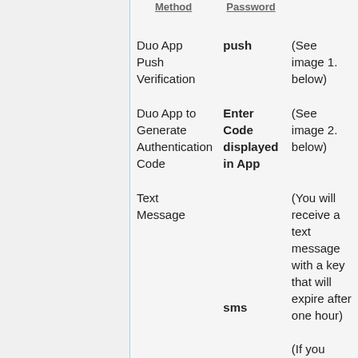| Method | Password |  |
| --- | --- | --- |
| Duo App Push Verification | push | (See image 1. below) |
| Duo App to Generate Authentication Code | Enter Code displayed in App | (See image 2. below) |
| Text Message | sms | (You will receive a text message with a key that will expire after one hour)
(If you |